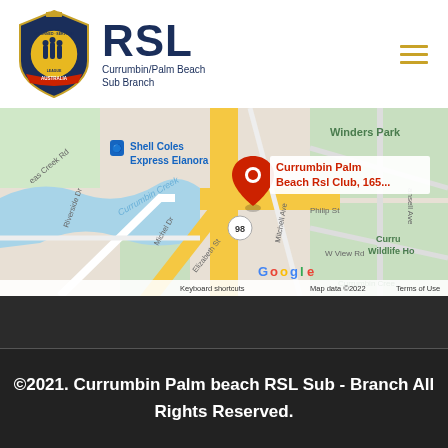[Figure (logo): RSL (Returned Services League) Currumbin/Palm Beach Sub Branch logo with badge and text]
[Figure (map): Google Maps screenshot showing Currumbin Palm Beach RSL Club location at 165, with Shell Coles Express Elanora, Winders Park, Currumbin Creek, and surrounding streets visible. Map data 2022.]
©2021. Currumbin Palm beach RSL Sub - Branch All Rights Reserved.